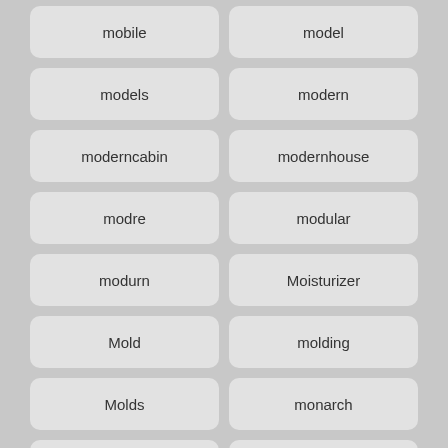mobile
model
models
modern
moderncabin
modernhouse
modre
modular
modurn
Moisturizer
Mold
molding
Molds
monarch
moncton
Money
monica
monitor
monroe
Monsters